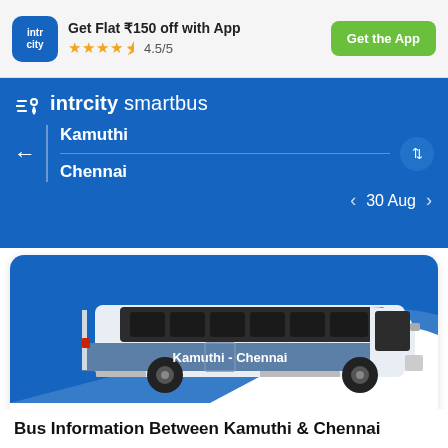Get Flat ₹150 off with App ★★★★½ 4.5/5 | Get the App
intrcity smartbus
Kamuthi
Chennai
< 30 Aug >
[Figure (illustration): Side view illustration of an IntrCity SmartBus coach labeled 'Kamuthi - Chennai' on a blue background]
Trip Overview
Bus Information Between Kamuthi & Chennai